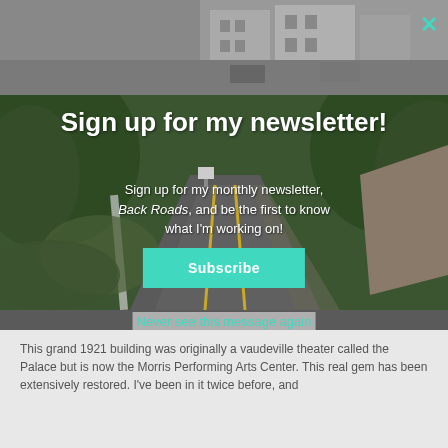[Figure (photo): Partial view of a black-and-white street scene photo visible at the top of the page behind the modal overlay]
[Figure (photo): Modal popup with a winding tree-lined road photo as background]
Sign up for my newsletter!
Sign up for my monthly newsletter, Back Roads, and be the first to know what I'm working on!
Subscribe
Never see this message again
This grand 1921 building was originally a vaudeville theater called the Palace but is now the Morris Performing Arts Center. This real gem has been extensively restored. I've been in it twice before, and